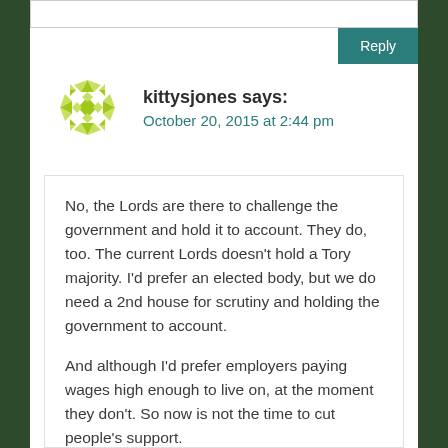kittysjones says: October 20, 2015 at 2:44 pm
No, the Lords are there to challenge the government and hold it to account. They do, too. The current Lords doesn't hold a Tory majority. I'd prefer an elected body, but we do need a 2nd house for scrutiny and holding the government to account.

And although I'd prefer employers paying wages high enough to live on, at the moment they don't. So now is not the time to cut people's support.